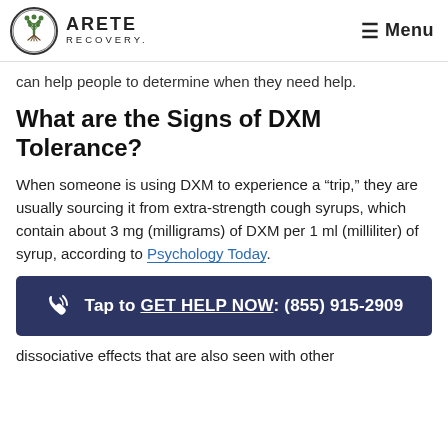ARETE RECOVERY — Menu
can help people to determine when they need help.
What are the Signs of DXM Tolerance?
When someone is using DXM to experience a “trip,” they are usually sourcing it from extra-strength cough syrups, which contain about 3 mg (milligrams) of DXM per 1 ml (milliliter) of syrup, according to Psychology Today.
Tap to GET HELP NOW: (855) 915-2909
dissociative effects that are also seen with other